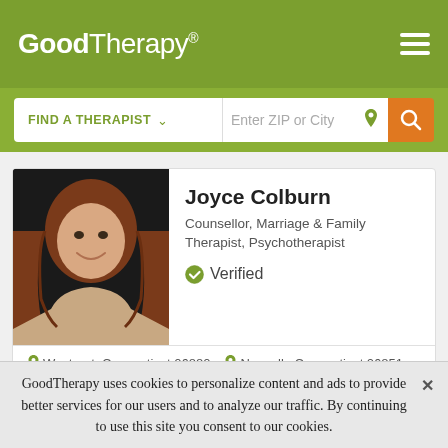GoodTherapy®
FIND A THERAPIST  ▾  Enter ZIP or City
[Figure (photo): Professional headshot of Joyce Colburn, a woman with reddish-brown hair, smiling, against a dark background]
Joyce Colburn
Counsellor, Marriage & Family Therapist, Psychotherapist
✔ Verified
📍 Westport, Connecticut 06880   📍 Norwalk, Connecticut 06851
A good therapist is empathic, caring and pragmatic, listening to your needs and focusing quickly on finding solutions to your problems.
GoodTherapy uses cookies to personalize content and ads to provide better services for our users and to analyze our traffic. By continuing to use this site you consent to our cookies.